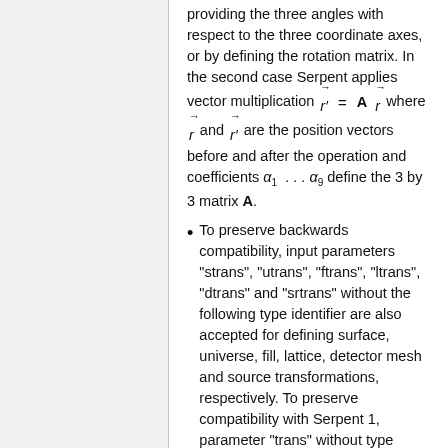providing the three angles with respect to the three coordinate axes, or by defining the rotation matrix. In the second case Serpent applies vector multiplication r' = A r-vec where r-vec and r'-vec are the position vectors before and after the operation and coefficients α₁ ... α₉ define the 3 by 3 matrix A.
To preserve backwards compatibility, input parameters "strans", "utrans", "ftrans", "ltrans", "dtrans" and "srtrans" without the following type identifier are also accepted for defining surface, universe, fill, lattice, detector mesh and source transformations, respectively. To preserve compatibility with Serpent 1, parameter "trans" without type identifier defines a universe